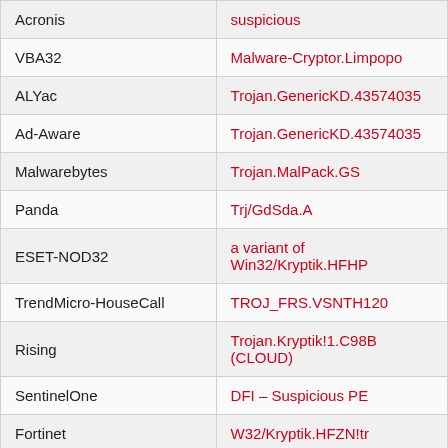| Vendor | Detection |
| --- | --- |
| Acronis | suspicious |
| VBA32 | Malware-Cryptor.Limpopo |
| ALYac | Trojan.GenericKD.43574035 |
| Ad-Aware | Trojan.GenericKD.43574035 |
| Malwarebytes | Trojan.MalPack.GS |
| Panda | Trj/GdSda.A |
| ESET-NOD32 | a variant of Win32/Kryptik.HFHP |
| TrendMicro-HouseCall | TROJ_FRS.VSNTH120 |
| Rising | Trojan.Kryptik!1.C98B (CLOUD) |
| SentinelOne | DFI – Suspicious PE |
| Fortinet | W32/Kryptik.HFZN!tr |